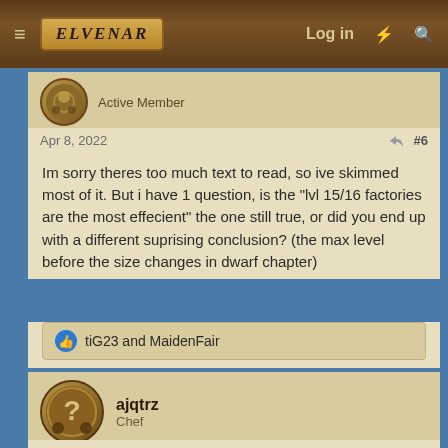Elvenar — Log in
Active Member
Apr 8, 2022  #6
Im sorry theres too much text to read, so ive skimmed most of it. But i have 1 question, is the "lvl 15/16 factories are the most effecient" the one still true, or did you end up with a different suprising conclusion? (the max level before the size changes in dwarf chapter)
tiG23 and MaidenFair
ajqtrz
Chef
Apr 8, 2022  #7
Wow, the work done here is a LOT. And I appreciate it a lot. It's good to see how even just calculating the value of a